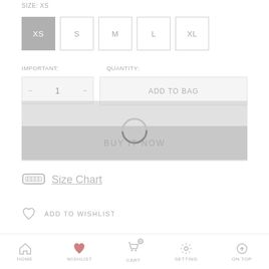SIZE: XS
[Figure (screenshot): Size selector buttons showing XS (selected/grey), S, M, L, XL]
IMPORTANT:   QUANTITY:
[Figure (screenshot): Quantity selector with minus, 1, plus buttons and ADD TO BAG button with loading spinner overlay]
[Figure (screenshot): BUY IT NOW button (grey)]
Size Chart
ADD TO WISHLIST
Share:
HOME  WISHLIST  CART  SETTING  ON TOP